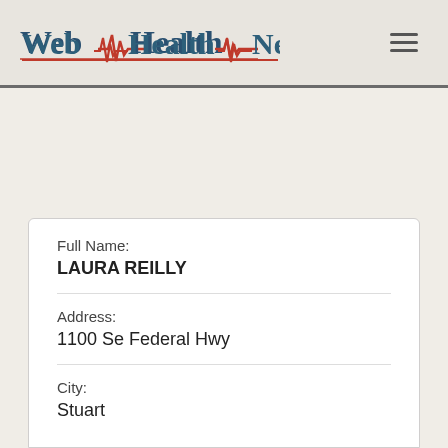[Figure (logo): Web Health Network logo with heartbeat/ECG line graphic in red and blue text]
Full Name:
LAURA REILLY
Address:
1100 Se Federal Hwy
City:
Stuart